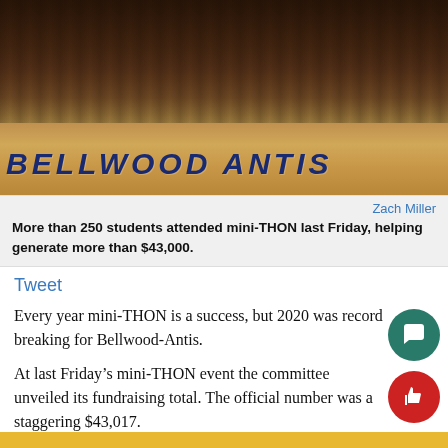[Figure (photo): Group photo of more than 250 students at mini-THON event inside a gymnasium with 'BELLWOOD ANTIS' written on the court floor. Students are wearing maroon and purple t-shirts.]
Zach Miller
More than 250 students attended mini-THON last Friday, helping generate more than $43,000.
Tweet
Every year mini-THON is a success, but 2020 was record breaking for Bellwood-Antis.
At last Friday's mini-THON event the committee unveiled its fundraising total. The official number was a staggering $43,017.
The success of the event wasn't expected, but it was well des…